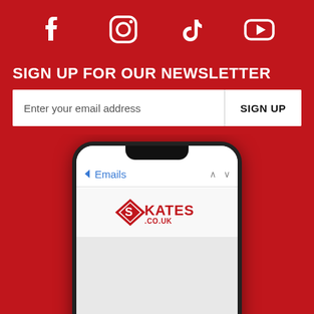[Figure (infographic): Social media icons (Facebook, Instagram, TikTok, YouTube) in white on red background]
SIGN UP FOR OUR NEWSLETTER
Enter your email address  SIGN UP
[Figure (screenshot): Mobile phone mockup showing Skates.co.uk email newsletter app view with cookie consent overlay: 'We uses cookies to give you the best online experience. Learn more.' with Accept and Decline buttons, and CODES / NEWS / OFFERS / MORE... text visible in background]